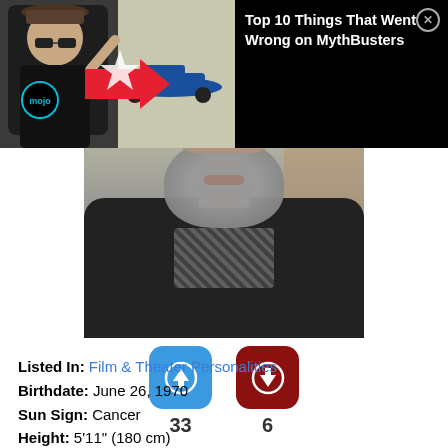[Figure (screenshot): Thumbnail image split: left side shows a person in sunglasses in a car, right side shows a blue dragster on a track. WatchMojo logo circle bottom-left. Red arrow pointing right. Black background panel with text overlay.]
Top 10 Things That Went Wrong on MythBusters
[Figure (photo): Close-up photo of a man with a large gray beard wearing a dark suit jacket and checkered shirt. Bookshelf visible in background.]
[Figure (infographic): Blue upvote button (up arrow icon) with count 33, and dark red downvote button (down arrow icon) with count 6.]
33
6
Listed In: Film & Theater Personalities
Birthdate: June 26, 1970
Sun Sign: Cancer
Height: 5'11" (180 cm)